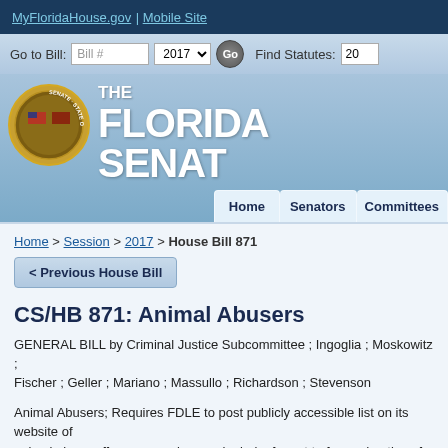MyFloridaHouse.gov | Mobile Site
Go to Bill: Bill # 2017 Go   Find Statutes: 20
[Figure (logo): Florida Senate seal and header logo with THE FLORIDA SENATE text and navigation tabs: Home, Senators, Committees]
Home > Session > 2017 > House Bill 871
< Previous House Bill
CS/HB 871: Animal Abusers
GENERAL BILL by Criminal Justice Subcommittee ; Ingoglia ; Moskowitz ; Fischer ; Geller ; Mariano ; Massullo ; Richardson ; Stevenson
Animal Abusers; Requires FDLE to post publicly accessible list on its website of animal abuse offenses; requires each clerk of court to forward notice of a specified time; provides requirements for list; specifies period for listing; p expunged or sealed; requires FDLE to send annual notice to specified e certain persons from having certain responsibilities for or association with